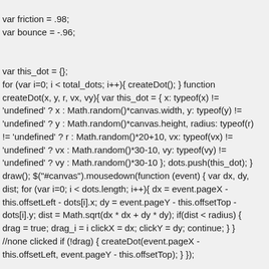var friction = .98;
var bounce = -.96;


var this_dot = {};
for (var i=0; i < total_dots; i++){ createDot(); } function createDot(x, y, r, vx, vy){ var this_dot = { x: typeof(x) != 'undefined' ? x : Math.random()*canvas.width, y: typeof(y) != 'undefined' ? y : Math.random()*canvas.height, radius: typeof(r) != 'undefined' ? r : Math.random()*20+10, vx: typeof(vx) != 'undefined' ? vx : Math.random()*30-10, vy: typeof(vy) != 'undefined' ? vy : Math.random()*30-10 }; dots.push(this_dot); } draw(); $("#canvas").mousedown(function (event) { var dx, dy, dist; for (var i=0; i < dots.length; i++){ dx = event.pageX - this.offsetLeft - dots[i].x; dy = event.pageY - this.offsetTop - dots[i].y; dist = Math.sqrt(dx * dx + dy * dy); if(dist < radius) { drag = true; drag_i = i clickX = dx; clickY = dy; continue; } } //none clicked if (!drag) { createDot(event.pageX - this.offsetLeft, event.pageY - this.offsetTop); } };